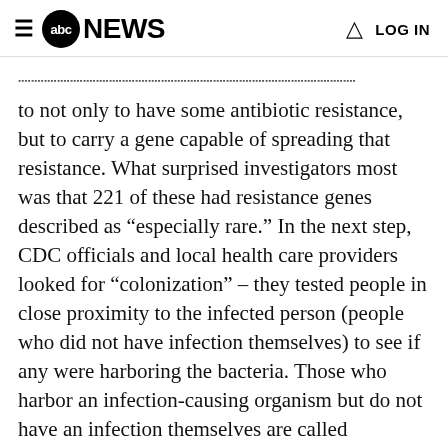abc NEWS  LOG IN
... to not only to have some antibiotic resistance, but to carry a gene capable of spreading that resistance. What surprised investigators most was that 221 of these had resistance genes described as “especially rare.” In the next step, CDC officials and local health care providers looked for “colonization” – they tested people in close proximity to the infected person (people who did not have infection themselves) to see if any were harboring the bacteria. Those who harbor an infection-causing organism but do not have an infection themselves are called “carriers.” One in 10 people tested were found to be carriers of the